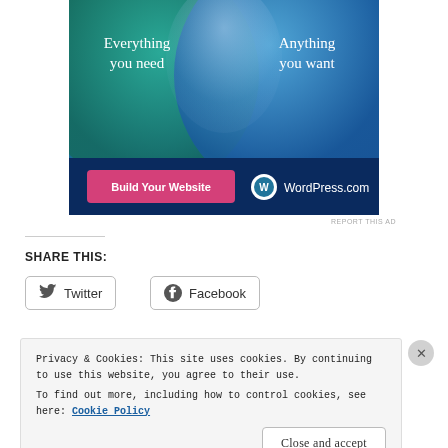[Figure (illustration): WordPress.com advertisement banner with teal and blue overlapping circles on dark background. Left side says 'Everything you need', right side says 'Anything you want'. Pink 'Build Your Website' button on bottom left and WordPress.com logo on bottom right.]
REPORT THIS AD
SHARE THIS:
Twitter (social share button)
Facebook (social share button)
Privacy & Cookies: This site uses cookies. By continuing to use this website, you agree to their use.
To find out more, including how to control cookies, see here: Cookie Policy
Close and accept